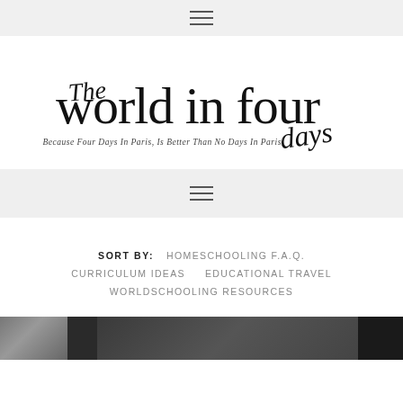≡ (hamburger menu)
[Figure (logo): The World In Four Days blog logo with script and serif typography. Text reads: 'The world in four days' with tagline 'Because Four Days In Paris, Is Better Than No Days In Paris!']
≡ (hamburger menu)
SORT BY:   HOMESCHOOLING F.A.Q.   CURRICULUM IDEAS   EDUCATIONAL TRAVEL   WORLDSCHOOLING RESOURCES
[Figure (photo): Partial photograph at bottom of page, dark interior scene]